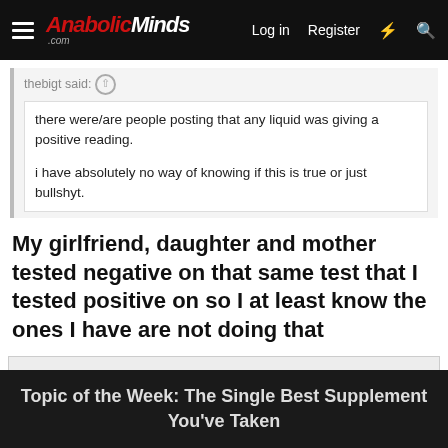AnabolicMinds.com — Log in  Register
thebigt said: ↑
there were/are people posting that any liquid was giving a positive reading.
i have absolutely no way of knowing if this is true or just bullshyt.
My girlfriend, daughter and mother tested negative on that same test that I tested positive on so I at least know the ones I have are not doing that
This site uses cookies to help personalise content, tailor your experience and to keep you logged in if you register.
By continuing to use this site, you are consenting to our use of cookies.
Topic of the Week: The Single Best Supplement You've Taken